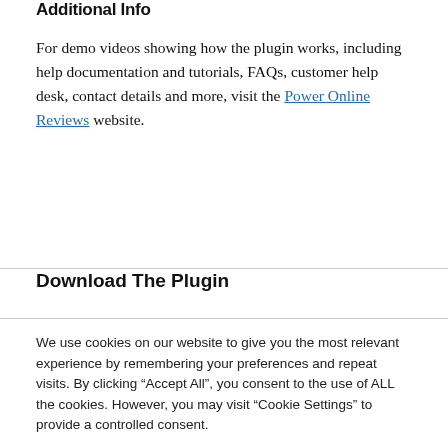Additional Info
For demo videos showing how the plugin works, including help documentation and tutorials, FAQs, customer help desk, contact details and more, visit the Power Online Reviews website.
Download The Plugin
We use cookies on our website to give you the most relevant experience by remembering your preferences and repeat visits. By clicking "Accept All", you consent to the use of ALL the cookies. However, you may visit "Cookie Settings" to provide a controlled consent.